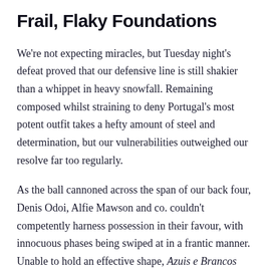Frail, Flaky Foundations
We're not expecting miracles, but Tuesday night's defeat proved that our defensive line is still shakier than a whippet in heavy snowfall. Remaining composed whilst straining to deny Portugal's most potent outfit takes a hefty amount of steel and determination, but our vulnerabilities outweighed our resolve far too regularly.
As the ball cannoned across the span of our back four, Denis Odoi, Alfie Mawson and co. couldn't competently harness possession in their favour, with innocuous phases being swiped at in a frantic manner. Unable to hold an effective shape, Azuis e Brancos carved through systematically and our rearguard was consistently caught on its heels.
We did tighten up somewhat after the interval, but before the